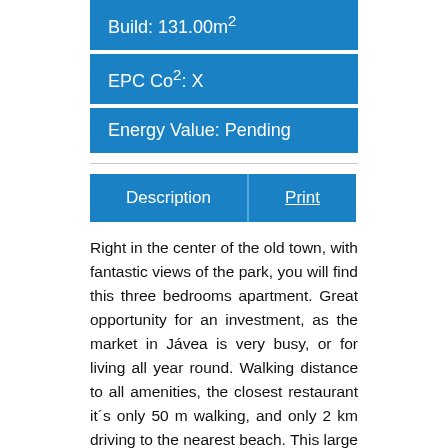Build: 131.00m²
EPC Co²: X
Energy Value: Pending
Description  |  Print
Right in the center of the old town, with fantastic views of the park, you will find this three bedrooms apartment. Great opportunity for an investment, as the market in Jávea is very busy, or for living all year round. Walking distance to all amenities, the closest restaurant it´s only 50 m walking, and only 2 km driving to the nearest beach. This large Apartment is sited on the third floor with NO LIFT, as you enter through the hall, you will find